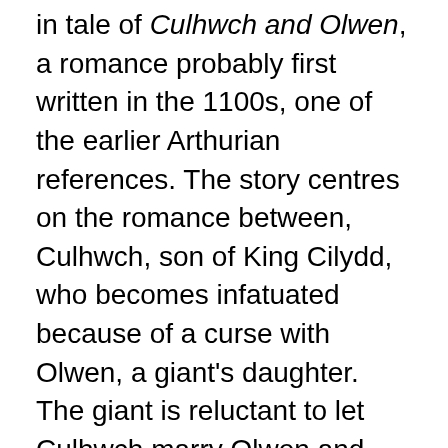in tale of Culhwch and Olwen, a romance probably first written in the 1100s, one of the earlier Arthurian references. The story centres on the romance between, Culhwch, son of King Cilydd, who becomes infatuated because of a curse with Olwen, a giant's daughter. The giant is reluctant to let Culhwch marry Olwen and sets the love-struck youth a series of impossible tasks that he must fulfil in order to win her hand. Clearing fields, ploughing, sewing and raising a crop in one day, fetching two magical oxen to pull a plough, sowing linseed to produce the white linen wedding veil, producing sweet mead without the aid of bees, procuring a magical hamper that never empties, a harp that plays itself...